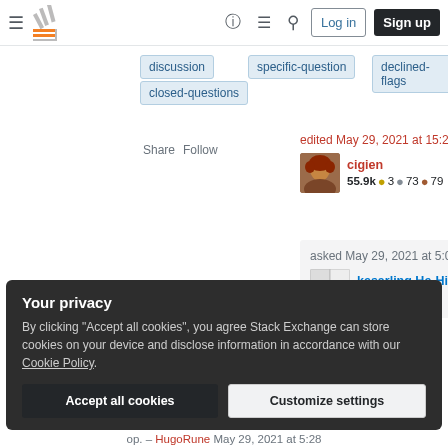≡ [Stack Exchange logo] ? ≡ 🔍 Log in Sign up
discussion
specific-question
declined-flags
closed-questions
Share Follow
edited May 29, 2021 at 15:29
cigien
55.9k ●3 ●73 ●79
asked May 29, 2021 at 5:09
kesarling He-Him
1,827 ●4 ●16
Your privacy
By clicking "Accept all cookies", you agree Stack Exchange can store cookies on your device and disclose information in accordance with our Cookie Policy.
Accept all cookies   Customize settings
op. – HugoRune May 29, 2021 at 5:28